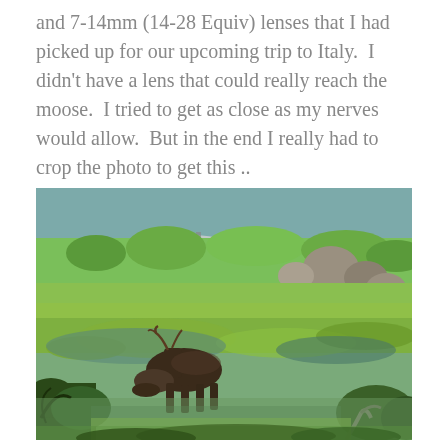and 7-14mm (14-28 Equiv) lenses that I had picked up for our upcoming trip to Italy. I didn't have a lens that could really reach the moose. I tried to get as close as my nerves would allow. But in the end I really had to crop the photo to get this ..
[Figure (photo): A moose wading and grazing in a shallow green algae-covered lake or pond, with lush green grasses and large boulders on the far bank, and a canoe with a person visible in the background on the water.]